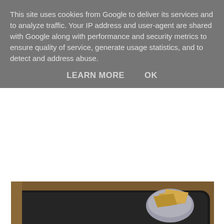This site uses cookies from Google to deliver its services and to analyze traffic. Your IP address and user-agent are shared with Google along with performance and security metrics to ensure quality of service, generate usage statistics, and to detect and address abuse.
LEARN MORE    OK
[Figure (photo): A food photograph showing a white bowl with lettuce mousse and tomato sorbet (two yellow dollops visible), placed on a large black slate/plate. A small cup with bacon and parmesan crisp is visible in the upper right corner. The setting is on a wooden table.]
After being led to our table in the dining room we were served a pre starter of Northcotes take on the BLT, which was lettuce mousse, tomato sorbet, bacon with a parmesan crisp.  The chilled tomato sorbet was the star for me as greens are always the lowest on my agenda!